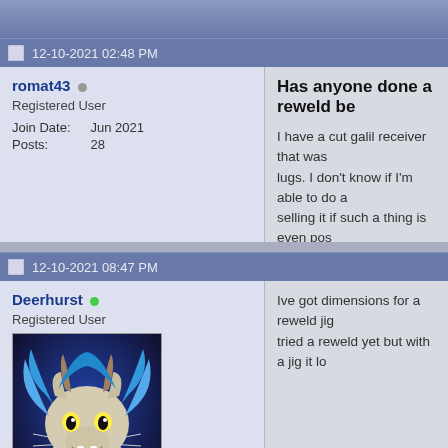12-10-2021 02:48 PM
romat43
Registered User
Join Date: Jun 2021
Posts: 28
Has anyone done a reweld be…
I have a cut galil receiver that was… lugs. I don’t know if I’m able to do a… selling it if such a thing is even pos… would certainly pay to have it done…
12-10-2021 08:47 PM
Deerhurst
Registered User
Join Date: Apr 2020
Location: Oregon
Posts: 546
Ive got dimensions for a reweld jig… tried a reweld yet but with a jig it lo…